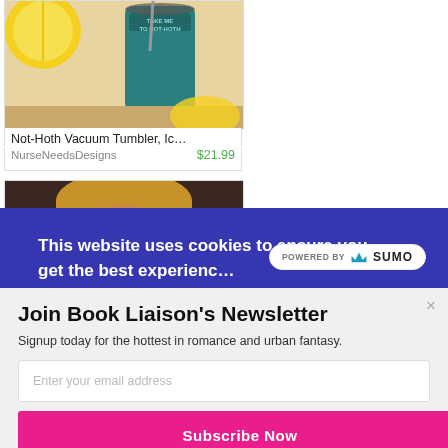[Figure (photo): Product photo of a Not-Hoth vacuum tumbler with lemon slices in background]
Not-Hoth Vacuum Tumbler, Ic…
NurseNeedsDesigns    $21.99
[Figure (photo): Person wearing a dark galaxy/space themed t-shirt holding a teal item]
This website uses cookies to ensure you get the best experienc…
[Figure (logo): POWERED BY SUMO badge]
Join Book Liaison's Newsletter
Signup today for the hottest in romance and urban fantasy.
Enter your email address
Subscribe Now